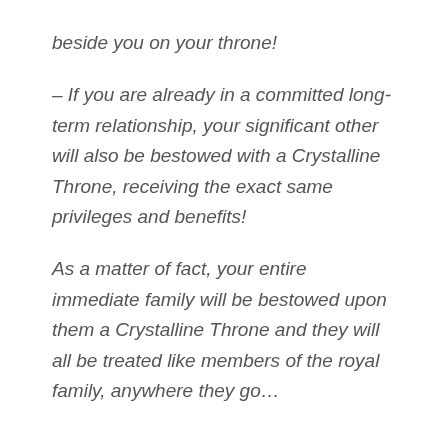beside you on your throne!
– If you are already in a committed long-term relationship, your significant other will also be bestowed with a Crystalline Throne, receiving the exact same privileges and benefits!
As a matter of fact, your entire immediate family will be bestowed upon them a Crystalline Throne and they will all be treated like members of the royal family, anywhere they go…